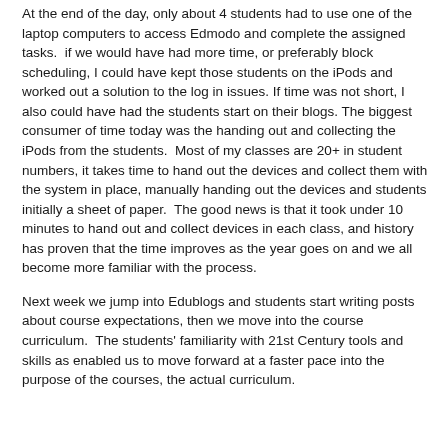At the end of the day, only about 4 students had to use one of the laptop computers to access Edmodo and complete the assigned tasks.  if we would have had more time, or preferably block scheduling, I could have kept those students on the iPods and worked out a solution to the log in issues. If time was not short, I also could have had the students start on their blogs. The biggest consumer of time today was the handing out and collecting the iPods from the students.  Most of my classes are 20+ in student numbers, it takes time to hand out the devices and collect them with the system in place, manually handing out the devices and students initially a sheet of paper.  The good news is that it took under 10 minutes to hand out and collect devices in each class, and history has proven that the time improves as the year goes on and we all become more familiar with the process.
Next week we jump into Edublogs and students start writing posts about course expectations, then we move into the course curriculum.  The students' familiarity with 21st Century tools and skills as enabled us to move forward at a faster pace into the purpose of the courses, the actual curriculum.